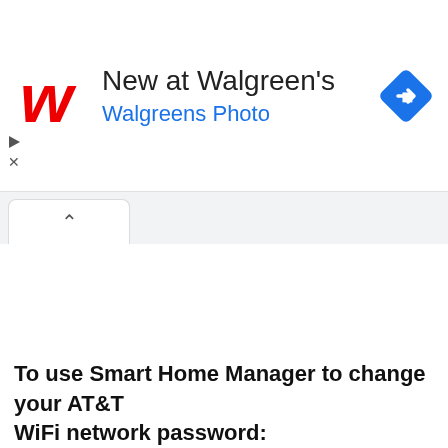[Figure (screenshot): Walgreens advertisement banner showing Walgreen's cursive red W logo, text 'New at Walgreen's' and 'Walgreens Photo' in blue, and a blue navigation diamond icon on the right. Below is a browser tab bar with an up-caret tab active. Play and close controls visible on the left side.]
To use Smart Home Manager to change your AT&T WiFi network password: